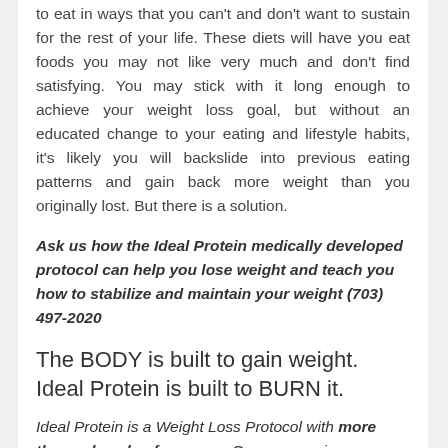to eat in ways that you can't and don't want to sustain for the rest of your life. These diets will have you eat foods you may not like very much and don't find satisfying. You may stick with it long enough to achieve your weight loss goal, but without an educated change to your eating and lifestyle habits, it's likely you will backslide into previous eating patterns and gain back more weight than you originally lost. But there is a solution.
Ask us how the Ideal Protein medically developed protocol can help you lose weight and teach you how to stabilize and maintain your weight (703) 497-2020
The BODY is built to gain weight. Ideal Protein is built to BURN it.
Ideal Protein is a Weight Loss Protocol with more than a decade of success. Our program is a